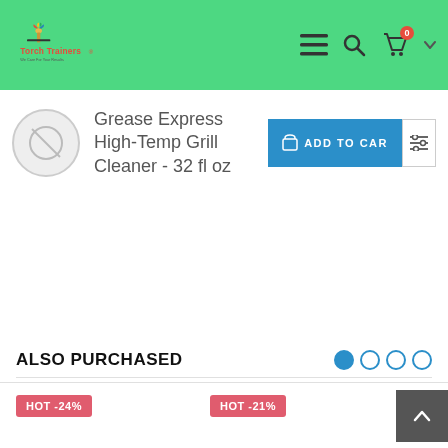Torch Trainers — navigation bar with logo, menu, search, and cart icons
Grease Express High-Temp Grill Cleaner - 32 fl oz
ADD TO CART
ALSO PURCHASED
HOT -24%
HOT -21%